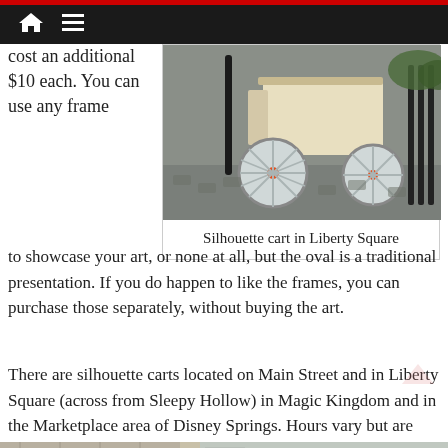Navigation bar with home and menu icons
cost an additional $10 each. You can use any frame
[Figure (photo): Silhouette cart in Liberty Square — a white carriage-style cart with large spoked wheels and red hub caps, on a cobblestone surface with iron fence and greenery in background.]
Silhouette cart in Liberty Square
to showcase your art, or none at all, but the oval is a traditional presentation. If you do happen to like the frames, you can purchase those separately, without buying the art.
There are silhouette carts located on Main Street and in Liberty Square (across from Sleepy Hollow) in Magic Kingdom and in the Marketplace area of Disney Springs. Hours vary but are typically shorter than overall park hours, opening mid-morning at the earliest.
[Figure (photo): Partial bottom image strip showing a building facade and outdoor scene.]